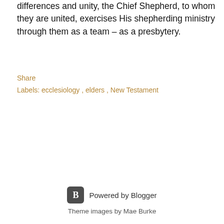differences and unity, the Chief Shepherd, to whom they are united, exercises His shepherding ministry through them as a team – as a presbytery.
Share
Labels: ecclesiology, elders, New Testament
Powered by Blogger
Theme images by Mae Burke